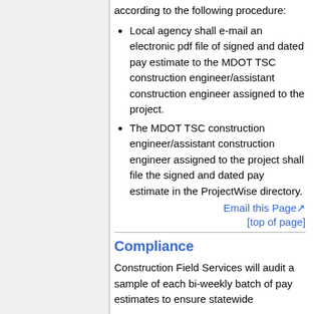according to the following procedure:
Local agency shall e-mail an electronic pdf file of signed and dated pay estimate to the MDOT TSC construction engineer/assistant construction engineer assigned to the project.
The MDOT TSC construction engineer/assistant construction engineer assigned to the project shall file the signed and dated pay estimate in the ProjectWise directory.
Email this Page
[top of page]
Compliance
Construction Field Services will audit a sample of each bi-weekly batch of pay estimates to ensure statewide